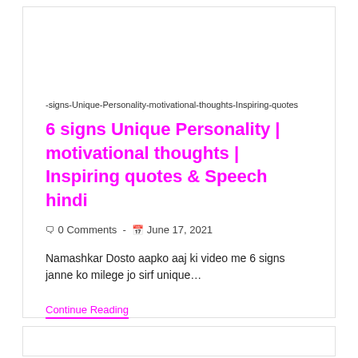-signs-Unique-Personality-motivational-thoughts-Inspiring-quotes
6 signs Unique Personality | motivational thoughts | Inspiring quotes & Speech hindi
🗨 0 Comments  -  📅 June 17, 2021
Namashkar Dosto aapko aaj ki video me 6 signs janne ko milege jo sirf unique…
Continue Reading